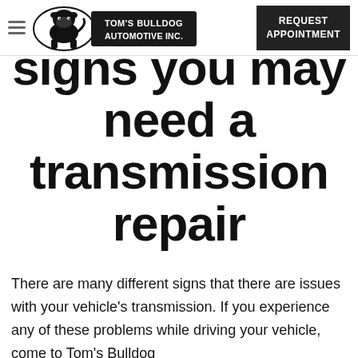Tom's Bulldog Automotive Inc. | REQUEST APPOINTMENT
signs you may need a transmission repair
There are many different signs that there are issues with your vehicle's transmission. If you experience any of these problems while driving your vehicle, come to Tom's Bulldog